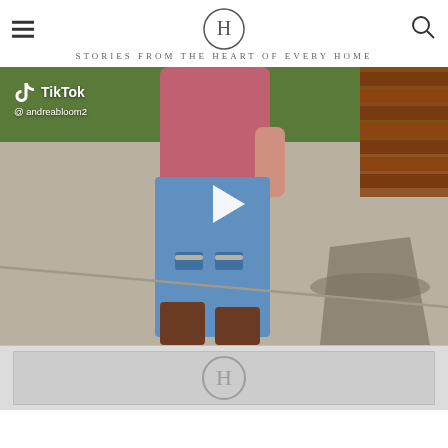H — STORIES FROM THE HEART OF EVERY HOME
[Figure (screenshot): TikTok video thumbnail showing a person in blue ripped jeans and brown boots walking outdoors, with TikTok logo and @andreabloom2 handle, and a play button overlay]
[Figure (logo): H logo circle partially visible in a grey footer area]